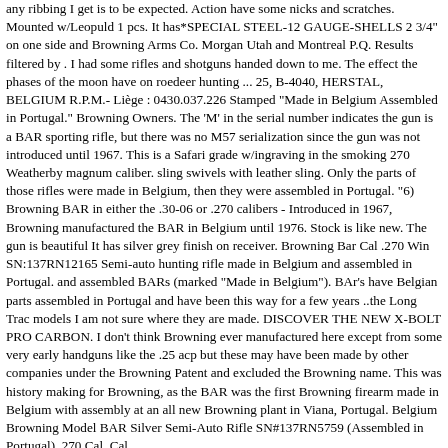any ribbing I get is to be expected. Action have some nicks and scratches. Mounted w/Leopuld 1 pcs. It has*SPECIAL STEEL-12 GAUGE-SHELLS 2 3/4" on one side and Browning Arms Co. Morgan Utah and Montreal P.Q. Results filtered by . I had some rifles and shotguns handed down to me. The effect the phases of the moon have on roedeer hunting ... 25, B-4040, HERSTAL, BELGIUM R.P.M.- Liège : 0430.037.226 Stamped "Made in Belgium Assembled in Portugal." Browning Owners. The 'M' in the serial number indicates the gun is a BAR sporting rifle, but there was no M57 serialization since the gun was not introduced until 1967. This is a Safari grade w/ingraving in the smoking 270 Weatherby magnum caliber. sling swivels with leather sling. Only the parts of those rifles were made in Belgium, then they were assembled in Portugal. "6) Browning BAR in either the .30-06 or .270 calibers - Introduced in 1967, Browning manufactured the BAR in Belgium until 1976. Stock is like new. The gun is beautiful It has silver grey finish on receiver. Browning Bar Cal .270 Win SN:137RN12165 Semi-auto hunting rifle made in Belgium and assembled in Portugal. and assembled BARs (marked "Made in Belgium"). BAr's have Belgian parts assembled in Portugal and have been this way for a few years ..the Long Trac models I am not sure where they are made. DISCOVER THE NEW X-BOLT PRO CARBON. I don't think Browning ever manufactured here except from some very early handguns like the .25 acp but these may have been made by other companies under the Browning Patent and excluded the Browning name. This was history making for Browning, as the BAR was the first Browning firearm made in Belgium with assembly at an all new Browning plant in Viana, Portugal. Belgium Browning Model BAR Silver Semi-Auto Rifle SN#137RN5759 (Assembled in Portugal). 270 Cal. Cal.